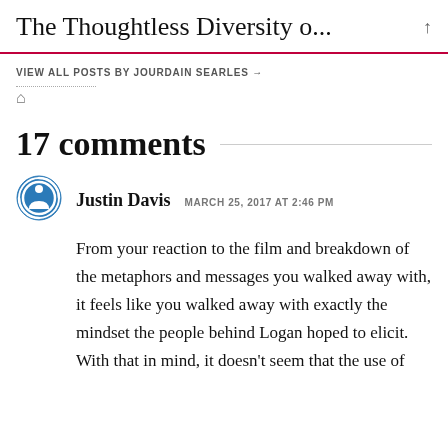The Thoughtless Diversity o...
VIEW ALL POSTS BY JOURDAIN SEARLES →
17 comments
Justin Davis   MARCH 25, 2017 AT 2:46 PM
From your reaction to the film and breakdown of the metaphors and messages you walked away with, it feels like you walked away with exactly the mindset the people behind Logan hoped to elicit. With that in mind, it doesn't seem that the use of